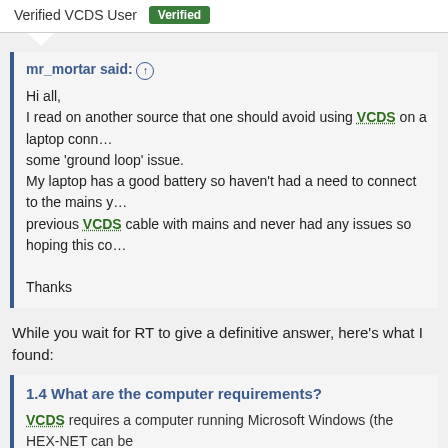Verified VCDS User  Verified
mr_mortar said: ↑
Hi all,
I read on another source that one should avoid using VCDS on a laptop connected to mains due to some 'ground loop' issue.
My laptop has a good battery so haven't had a need to connect to the mains yet, but I used a previous VCDS cable with mains and never had any issues so hoping this continues.

Thanks
While you wait for RT to give a definitive answer, here's what I found:
1.4 What are the computer requirements?
VCDS requires a computer running Microsoft Windows (the HEX-NET can be used with other platforms but that use is still in beta testing). A Laptop is most convenient but not required. We recommend a PC running Windows 7, 8.1, or 10 with at least 2GB of RAM. Single-core processors are no longer recommended and devices with ARM CPUs are NOT supported. A display of at least 800x600 is recommended.
If you are using a power supply for a laptop, it should be one specifically designed for computers, not a "universal" adapter.
Click to expand...